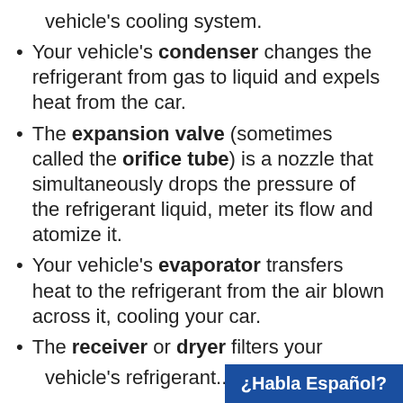vehicle's cooling system.
Your vehicle's condenser changes the refrigerant from gas to liquid and expels heat from the car.
The expansion valve (sometimes called the orifice tube) is a nozzle that simultaneously drops the pressure of the refrigerant liquid, meter its flow and atomize it.
Your vehicle's evaporator transfers heat to the refrigerant from the air blown across it, cooling your car.
The receiver or dryer filters your vehicle's refrigerant...
¿Habla Español?